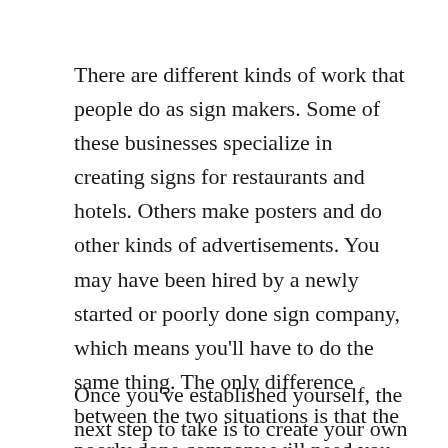There are different kinds of work that people do as sign makers. Some of these businesses specialize in creating signs for restaurants and hotels. Others make posters and do other kinds of advertisements. You may have been hired by a newly started or poorly done sign company, which means you'll have to do the same thing. The only difference between the two situations is that the poorly done company will need you to come in and fix their signs while the newly started company doesn't. You're basically the same person in either of these kinds of scenarios.
Once you've established yourself, the next step to take is to create your own line of work for sign making. There are